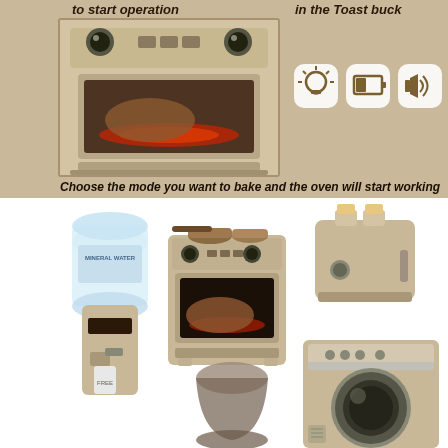to start operation
in the Toast buck
[Figure (photo): Close-up photo of a toy oven appliance with glowing red interior, beige/tan color, with cartoon-like eyes on top and control buttons]
[Figure (infographic): Three white rounded square icons on tan background: lightbulb (light), battery, and speaker (sound) icons]
Choose the mode you want to bake and the oven will start working
[Figure (photo): Collection of toy kitchen appliances on white background: water dispenser with mineral water bottle, toy oven with cooking pots, toaster, blender/cup, and washing machine - all in beige/tan color scheme]